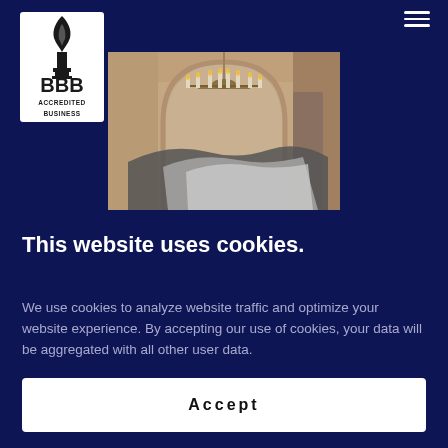[Figure (logo): BBB Accredited Business logo — black torch flame icon above 'BBB' text and 'ACCREDITED BUSINESS' text on white background]
[Figure (photo): Interior room photo showing a decorative chandelier with candle-style lights hanging from a ceiling, above an ornate headboard-style wall feature with an arched niche. Drop cloths or tarps are draped over furniture below, suggesting a painting or renovation project in progress.]
This website uses cookies.
We use cookies to analyze website traffic and optimize your website experience. By accepting our use of cookies, your data will be aggregated with all other user data.
Accept